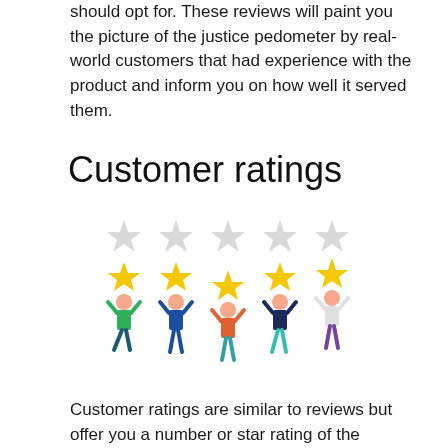should opt for. These reviews will paint you the picture of the justice pedometer by real-world customers that had experience with the product and inform you on how well it served them.
Customer ratings
[Figure (illustration): Five gray empty stars in a row at the top, and five cartoon people below each holding a large yellow star above their heads, representing customer ratings.]
Customer ratings are similar to reviews but offer you a number or star rating of the